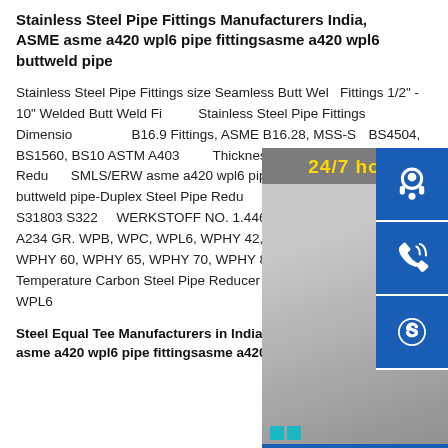Stainless Steel Pipe Fittings Manufacturers India, ASME asme a420 wpl6 pipe fittingsasme a420 wpl6 buttweld pipe
Stainless Steel Pipe Fittings size Seamless Butt Weld Fittings 1/2" - 10" Welded Butt Weld Fittings Stainless Steel Pipe Fittings Dimensions ASME B16.9 Fittings, ASME B16.28, MSS-SP BS4504, BS1560, BS10 ASTM A403 Thickness Stainless Steel Pipe Reducer SMLS/ERW asme a420 wpl6 pipe fittings asme a420 wpl6 buttweld pipe-Duplex Steel Pipe Reducer ASME SA 815 UNS NO S31803 S32205 WERKSTOFF NO. 1.4462-Carbon Steel ASTM A234 GR. WPB, WPC, WPL6, WPHY 42, WPHY 46, WPHY 52, WPHY 60, WPHY 65, WPHY 70, WPHY 80, AND WPHY 100-Low Temperature Carbon Steel Pipe Reducer ASTM A420 WPL3, A420 WPL6
Steel Equal Tee Manufacturers in India ASTM A420 asme a420 wpl6 pipe fittingsasme a420 wpl6 buttweld
[Figure (other): Customer service chat widget with 24/7 hour badge, agent photo, blue icon buttons for headset and phone, Skype icon, and 'Click to chat' bar]